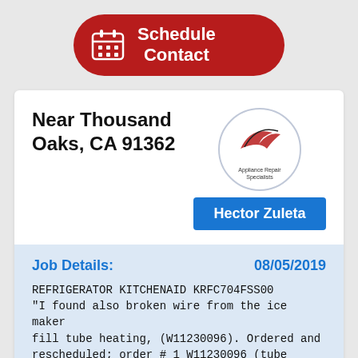[Figure (other): Red rounded-rectangle button with calendar icon and text 'Schedule Contact']
Near Thousand Oaks, CA 91362
[Figure (logo): Appliance Repair Specialists logo inside a circle]
Hector Zuleta
Job Details:
08/05/2019
REFRIGERATOR KITCHENAID KRFC704FSS00 "I found also broken wire from the ice maker fill tube heating, (W11230096). Ordered and rescheduled; order # 1 W11230096 (tube